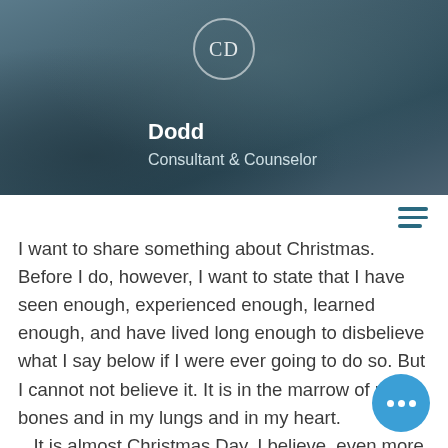[Figure (screenshot): Mobile app profile header with blurred dark blue-grey background, circular logo with letters CD, profile name 'Dodd' and subtitle 'Consultant & Counselor']
Dodd
Consultant & Counselor
I want to share something about Christmas. Before I do, however, I want to state that I have seen enough, experienced enough, learned enough, and have lived long enough to disbelieve what I say below if I were ever going to do so. But I cannot not believe it. It is in the marrow of my bones and in my lungs and in my heart.
   It is almost Christmas Day. I believe, even more than a child can, that an angel of the LORD appeared to shepherds in the field who followed the angel's words to Bethlehem. I believe